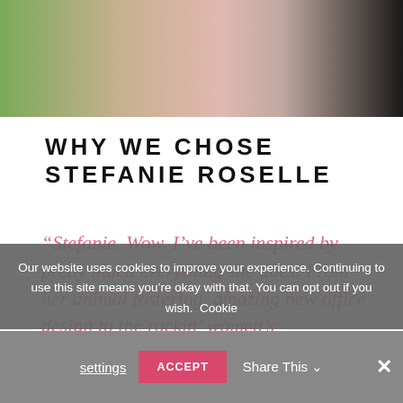[Figure (photo): Partial photo of a woman in a black outfit, cropped at the top of the page, with greenery visible in the background.]
WHY WE CHOSE STEFANIE ROSELLE
“Stefanie. Wow. I’ve been inspired by pretty much everything she does. From her animal fostering, amazing new office design to the rockin’ women’s organization she co-
Our website uses cookies to improve your experience. Continuing to use this site means you’re okay with that. You can opt out if you wish. Cookie settings
ACCEPT
Share This